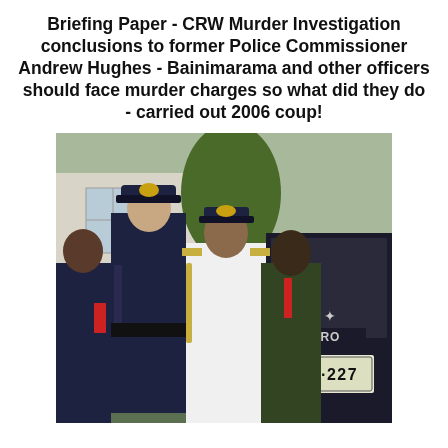Briefing Paper - CRW Murder Investigation conclusions to former Police Commissioner Andrew Hughes - Bainimarama and other officers should face murder charges so what did they do - carried out 2006 coup!
[Figure (photo): Outdoor photograph showing three men near a dark Mitsubishi Pajero SUV with license plate GN 227. On the left, a man in dark navy police uniform with cap reaches out toward the vehicle. In the center, a man in white naval officer uniform with gold epaulettes and braid. On the right, a dark-skinned man in casual clothes with a red lanyard. Background shows green foliage and a building.]